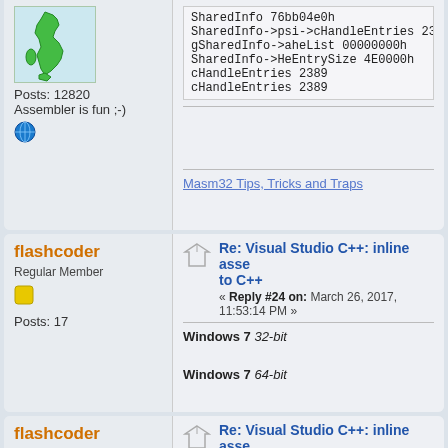[Figure (screenshot): Top post block partial view with Italy map avatar, user info, and code output block showing SharedInfo values]
Posts: 12820
Assembler is fun ;-)
SharedInfo 76bb04e0h
SharedInfo->psi->cHandleEntries 2389
gSharedInfo->aheList 00000000h
SharedInfo->HeEntrySize 4E0000h
cHandleEntries 2389
cHandleEntries 2389
Masm32 Tips, Tricks and Traps
flashcoder
Regular Member
Posts: 17
Re: Visual Studio C++: inline asse to C++
« Reply #24 on: March 26, 2017, 11:53:14 PM »
Windows 7 32-bit
Windows 7 64-bit
flashcoder
Regular Member
Re: Visual Studio C++: inline asse to C++
« Reply #25 on: March 27, 2017, 07:28:37 AM »